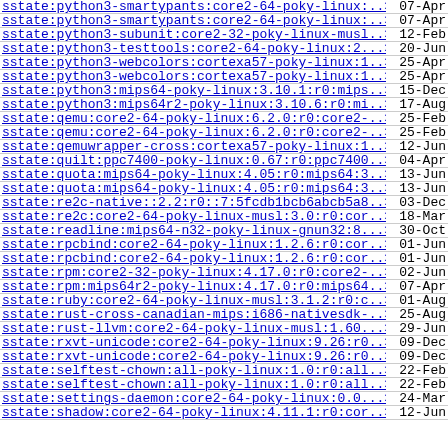sstate:python3-smartypants:core2-64-poky-linux:..> 07-Apr
sstate:python3-smartypants:core2-64-poky-linux:..> 07-Apr
sstate:python3-subunit:core2-32-poky-linux-musl..> 12-Feb
sstate:python3-testtools:core2-64-poky-linux:2...> 20-Jun
sstate:python3-webcolors:cortexa57-poky-linux:1..> 25-Apr
sstate:python3-webcolors:cortexa57-poky-linux:1..> 25-Apr
sstate:python3:mips64-poky-linux:3.10.1:r0:mips..> 15-Dec
sstate:python3:mips64r2-poky-linux:3.10.6:r0:mi..> 17-Aug
sstate:qemu:core2-64-poky-linux:6.2.0:r0:core2-..> 25-Feb
sstate:qemu:core2-64-poky-linux:6.2.0:r0:core2-..> 25-Feb
sstate:qemuwrapper-cross:cortexa57-poky-linux:1..> 12-Jun
sstate:quilt:ppc7400-poky-linux:0.67:r0:ppc7400..> 04-Apr
sstate:quota:mips64-poky-linux:4.05:r0:mips64:3..> 13-Jun
sstate:quota:mips64-poky-linux:4.05:r0:mips64:3..> 13-Jun
sstate:re2c-native::2.2:r0::7:5fcdb1bcb6abcb5a8..> 03-Dec
sstate:re2c:core2-64-poky-linux-musl:3.0:r0:cor..> 18-Mar
sstate:readline:mips64-n32-poky-linux-gnun32:8...> 30-Oct
sstate:rpcbind:core2-64-poky-linux:1.2.6:r0:cor..> 01-Jun
sstate:rpcbind:core2-64-poky-linux:1.2.6:r0:cor..> 01-Jun
sstate:rpm:core2-32-poky-linux:4.17.0:r0:core2-..> 02-Jun
sstate:rpm:mips64r2-poky-linux:4.17.0:r0:mips64..> 07-Apr
sstate:ruby:core2-64-poky-linux-musl:3.1.2:r0:c..> 01-Aug
sstate:rust-cross-canadian-mips:i686-nativesdk-..> 25-Aug
sstate:rust-llvm:core2-64-poky-linux-musl:1.60...> 29-Jun
sstate:rxvt-unicode:core2-64-poky-linux:9.26:r0..> 09-Dec
sstate:rxvt-unicode:core2-64-poky-linux:9.26:r0..> 09-Dec
sstate:selftest-chown:all-poky-linux:1.0:r0:all..> 22-Feb
sstate:selftest-chown:all-poky-linux:1.0:r0:all..> 22-Feb
sstate:settings-daemon:core2-64-poky-linux:0.0...> 24-Mar
sstate:shadow:core2-64-poky-linux:4.11.1:r0:cor..> 12-Jun